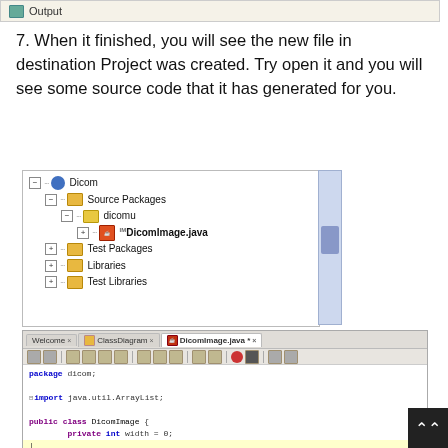[Figure (screenshot): Output panel bar from an IDE]
7. When it finished, you will see the new file in destination Project was created. Try open it and you will see some source code that it has generated for you.
[Figure (screenshot): NetBeans project tree showing Dicom project with Source Packages > dicomu > DicomImage.java, Test Packages, Libraries, Test Libraries]
[Figure (screenshot): NetBeans IDE editor showing DicomImage.java with tabs Welcome, ClassDiagram, DicomImage.java. Code shows: package dicom; import java.util.ArrayList; public class DicomImage { private int width = 0; private int height = 0; private int size = 0;]